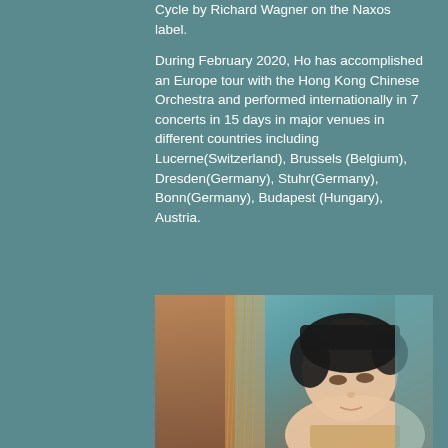Cycle by Richard Wagner on the Naxos label.
During February 2020, Ho has accomplished an Europe tour with the Hong Kong Chinese Orchestra and performed internationally in 7 concerts in 15 days in major venues in different countries including Lucerne(Switzerland), Brussels (Belgium), Dresden(Germany), Stuhr(Germany), Bonn(Germany), Budapest (Hungary), Austria.
[Figure (photo): A young East Asian woman with dark hair looking downward, photographed in close-up with musical instrument (harp) strings visible in the foreground. Warm and cool tones in the background.]